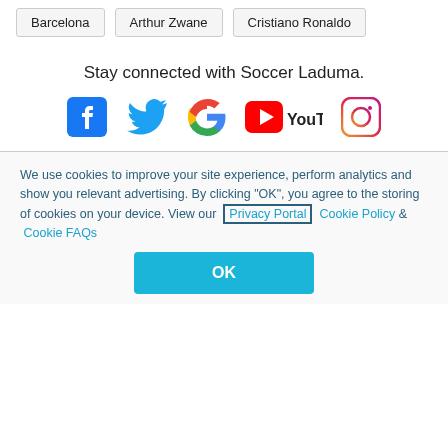Barcelona
Arthur Zwane
Cristiano Ronaldo
Stay connected with Soccer Laduma.
[Figure (logo): Social media icons: Facebook, Twitter, Google, YouTube, Instagram]
We use cookies to improve your site experience, perform analytics and show you relevant advertising. By clicking "OK", you agree to the storing of cookies on your device. View our Privacy Portal  Cookie Policy &  Cookie FAQs
OK